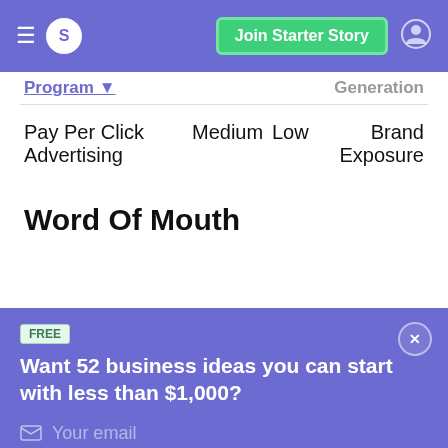Join Starter Story
| Program | ... | ... | Generation |
| --- | --- | --- | --- |
| Pay Per Click Advertising | Medium | Low | Brand Exposure |
Word Of Mouth
FREE
Want 52 business ideas you can start with less than $1,000?
Your email
Send Now